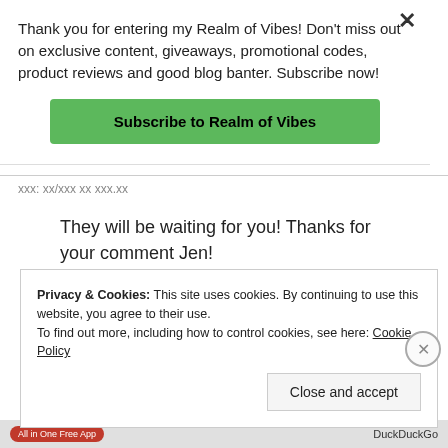Thank you for entering my Realm of Vibes! Don't miss out on exclusive content, giveaways, promotional codes, product reviews and good blog banter. Subscribe now!
Subscribe to Realm of Vibes
They will be waiting for you! Thanks for your comment Jen!
★ Like
Privacy & Cookies: This site uses cookies. By continuing to use this website, you agree to their use.
To find out more, including how to control cookies, see here: Cookie Policy
Close and accept